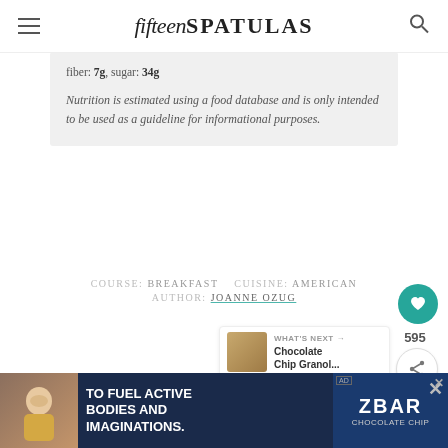fifteen SPATULAS
fiber: 7g, sugar: 34g
Nutrition is estimated using a food database and is only intended to be used as a guideline for informational purposes.
COURSE: BREAKFAST   CUISINE: AMERICAN
AUTHOR: JOANNE OZUG
595
[Figure (photo): Chocolate chip granola thumbnail image for 'What's Next' widget]
WHAT'S NEXT → Chocolate Chip Granol...
Post updated with photos, writing, tips, and
[Figure (photo): Advertisement banner: TO FUEL ACTIVE BODIES AND IMAGINATIONS. Z BAR chocolate chip. Shows child eating snack.]